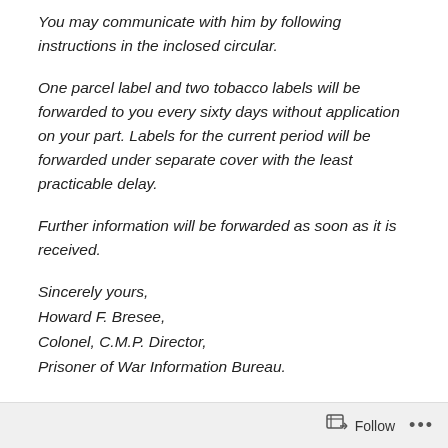You may communicate with him by following instructions in the inclosed circular.
One parcel label and two tobacco labels will be forwarded to you every sixty days without application on your part. Labels for the current period will be forwarded under separate cover with the least practicable delay.
Further information will be forwarded as soon as it is received.
Sincerely yours,
Howard F. Bresee,
Colonel, C.M.P. Director,
Prisoner of War Information Bureau.
Incls.
Follow